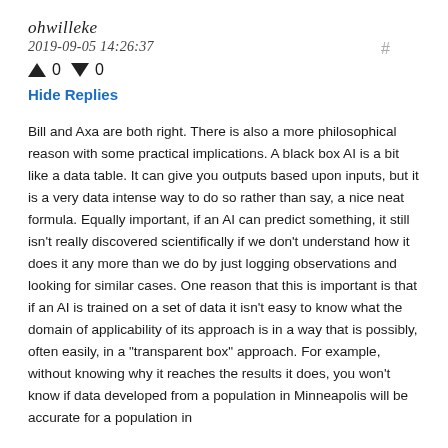ohwilleke
2019-09-05 14:26:37
↑ 0 ↓ 0
Hide Replies
Bill and Axa are both right. There is also a more philosophical reason with some practical implications. A black box AI is a bit like a data table. It can give you outputs based upon inputs, but it is a very data intense way to do so rather than say, a nice neat formula. Equally important, if an AI can predict something, it still isn't really discovered scientifically if we don't understand how it does it any more than we do by just logging observations and looking for similar cases. One reason that this is important is that if an AI is trained on a set of data it isn't easy to know what the domain of applicability of its approach is in a way that is possibly, often easily, in a "transparent box" approach. For example, without knowing why it reaches the results it does, you won't know if data developed from a population in Minneapolis will be accurate for a population in